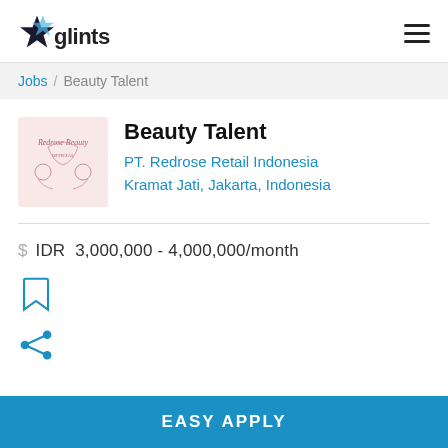glints
Jobs / Beauty Talent
Beauty Talent
PT. Redrose Retail Indonesia
Kramat Jati, Jakarta, Indonesia
IDR  3,000,000 - 4,000,000/month
[Figure (illustration): Bookmark icon]
[Figure (illustration): Share icon]
EASY APPLY